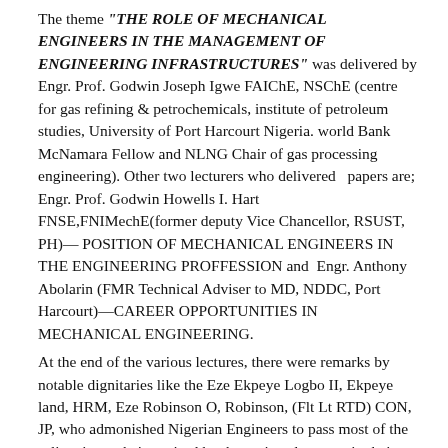The theme "THE ROLE OF MECHANICAL ENGINEERS IN THE MANAGEMENT OF ENGINEERING INFRASTRUCTURES" was delivered by Engr. Prof. Godwin Joseph Igwe FAIChE, NSChE (centre for gas refining & petrochemicals, institute of petroleum studies, University of Port Harcourt Nigeria. world Bank McNamara Fellow and NLNG Chair of gas processing engineering). Other two lecturers who delivered  papers are; Engr. Prof. Godwin Howells I. Hart FNSE,FNIMechE(former deputy Vice Chancellor, RSUST, PH)— POSITION OF MECHANICAL ENGINEERS IN THE ENGINEERING PROFFESSION and  Engr. Anthony Abolarin (FMR Technical Adviser to MD, NDDC, Port Harcourt)—CAREER OPPORTUNITIES IN MECHANICAL ENGINEERING.
At the end of the various lectures, there were remarks by notable dignitaries like the Eze Ekpeye Logbo II, Ekpeye land, HRM, Eze Robinson O, Robinson, (Flt Lt RTD) CON, JP, who admonished Nigerian Engineers to pass most of the salient issues being raised by the various lecturers in their presentation